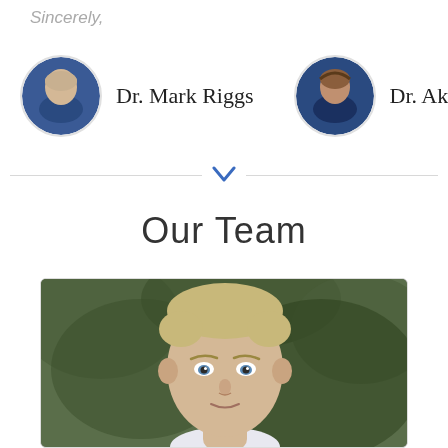Sincerely,
[Figure (photo): Circular headshot of Dr. Mark Riggs in blue attire]
Dr. Mark Riggs
[Figure (photo): Circular headshot of Dr. Akilah Spencer in blue attire, smiling]
Dr. Akilah Spencer
Our Team
[Figure (photo): Portrait photo of a man with short blonde hair and blue eyes, outdoors with blurred green background]